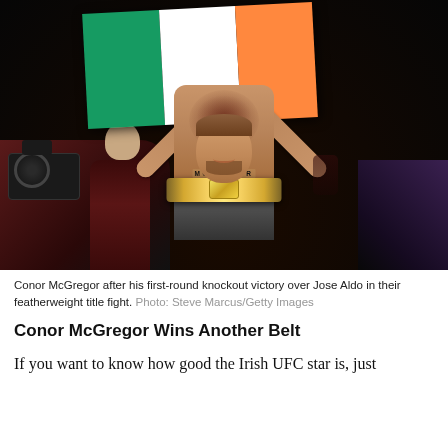[Figure (photo): Conor McGregor celebrating with arms raised holding the Irish flag (green, white, orange tricolor) above his head. He is shirtless showing tattoos and wearing a UFC championship belt. Camera crew and crowd visible in background.]
Conor McGregor after his first-round knockout victory over Jose Aldo in their featherweight title fight. Photo: Steve Marcus/Getty Images
Conor McGregor Wins Another Belt
If you want to know how good the Irish UFC star is, just